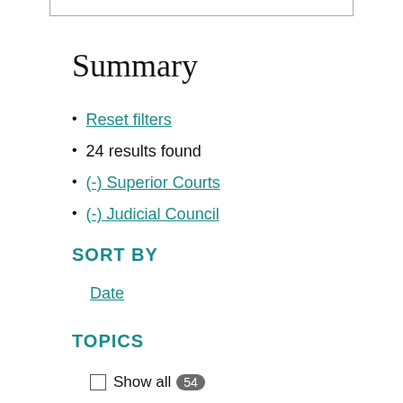Summary
Reset filters
24 results found
(-) Superior Courts
(-) Judicial Council
SORT BY
Date
TOPICS
Show all 54